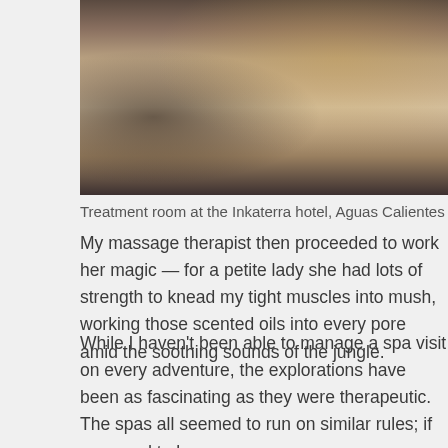[Figure (photo): A dimly lit spa treatment room at the Inkaterra hotel showing a massage table draped with white linens, with warm ambient lighting and a dark atmospheric background.]
Treatment room at the Inkaterra hotel, Aguas Calientes
My massage therapist then proceeded to work her magic — for a petite lady she had lots of strength to knead my tight muscles into mush, working those scented oils into every pore amid the soothing sounds of the jungle.
While I haven't been able to manage a spa visit on every adventure, the explorations have been as fascinating as they were therapeutic. The spas all seemed to run on similar rules; if you need to bone